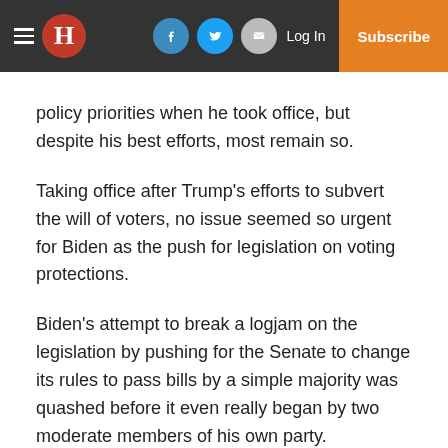The Hill — Header navigation bar with logo, social icons, Log In, Subscribe
policy priorities when he took office, but despite his best efforts, most remain so.
Taking office after Trump's efforts to subvert the will of voters, no issue seemed so urgent for Biden as the push for legislation on voting protections.
Biden's attempt to break a logjam on the legislation by pushing for the Senate to change its rules to pass bills by a simple majority was quashed before it even really began by two moderate members of his own party.